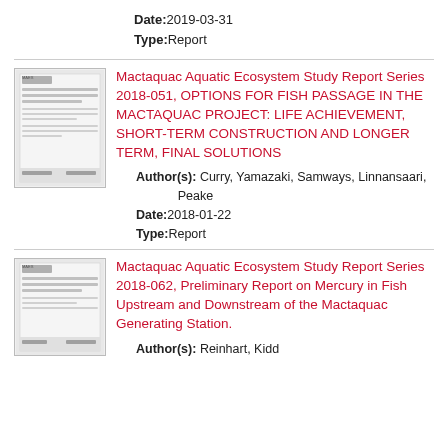Date: 2019-03-31
Type: Report
[Figure (illustration): Thumbnail of report cover page for MAES series 2018-051]
Mactaquac Aquatic Ecosystem Study Report Series 2018-051, OPTIONS FOR FISH PASSAGE IN THE MACTAQUAC PROJECT: LIFE ACHIEVEMENT, SHORT-TERM CONSTRUCTION AND LONGER TERM, FINAL SOLUTIONS
Author(s): Curry, Yamazaki, Samways, Linnansaari, Peake
Date: 2018-01-22
Type: Report
[Figure (illustration): Thumbnail of report cover page for MAES series 2018-062]
Mactaquac Aquatic Ecosystem Study Report Series 2018-062, Preliminary Report on Mercury in Fish Upstream and Downstream of the Mactaquac Generating Station.
Author(s): Reinhart, Kidd